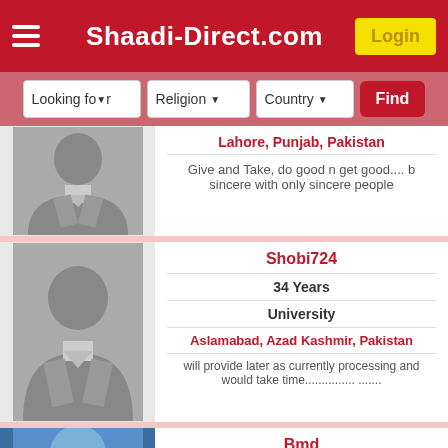Shaadi-Direct.com
Looking for  Religion  Country  Find
Lahore, Punjab, Pakistan
Give and Take, do good n get good.... b sincere with only sincere people
Shobi724
34 Years
University
Aslamabad, Azad Kashmir, Pakistan
will provide later as currently processing and would take time............... .......
Bmd
26 Years